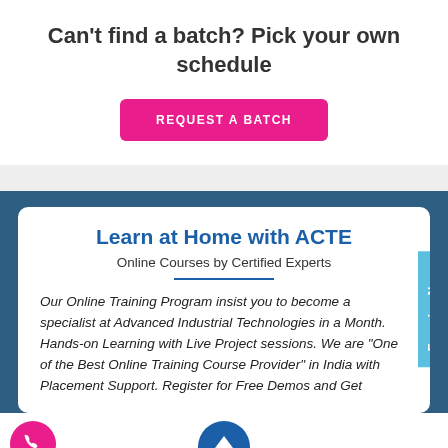Can't find a batch? Pick your own schedule
REQUEST A BATCH
Learn at Home with ACTE
Online Courses by Certified Experts
Our Online Training Program insist you to become a specialist at Advanced Industrial Technologies in a Month. Hands-on Learning with Live Project sessions. We are "One of the Best Online Training Course Provider" in India with Placement Support. Register for Free Demos and Get